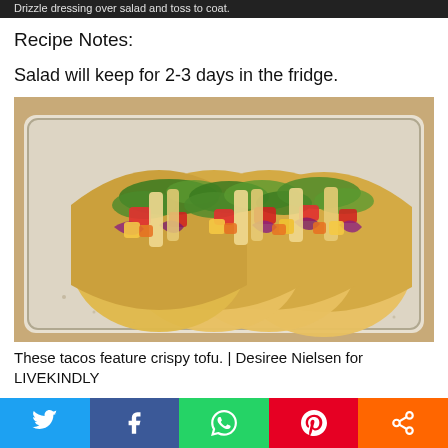Drizzle dressing over salad and toss to coat.
Recipe Notes:
Salad will keep for 2-3 days in the fridge.
[Figure (photo): Four tacos filled with crispy tofu, red bell pepper, purple cabbage, and fresh herbs/greens on a white ceramic plate on a wooden surface.]
These tacos feature crispy tofu. | Desiree Nielsen for LIVEKINDLY